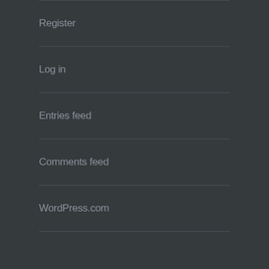Register
Log in
Entries feed
Comments feed
WordPress.com